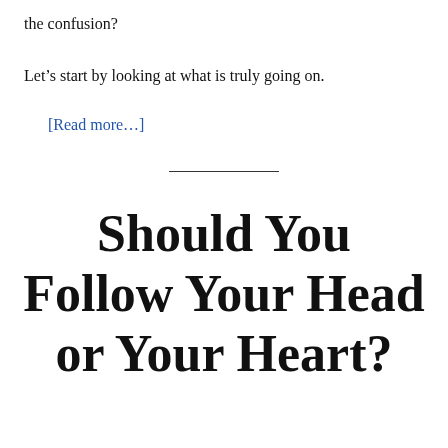the confusion?
Let's start by looking at what is truly going on.
[Read more…]
Should You Follow Your Head or Your Heart?